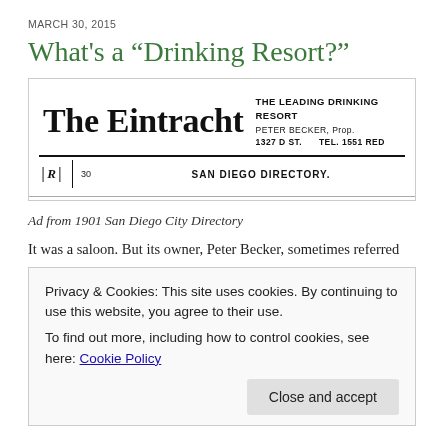MARCH 30, 2015
What's a “Drinking Resort?”
[Figure (photo): Scanned advertisement from the 1901 San Diego City Directory for 'The Eintracht', described as 'THE LEADING DRINKING RESORT', owned by PETER BECKER, Prop., located at 1327 D ST., TEL. 1551 RED. Below the ad masthead is a horizontal rule and a line reading '30  SAN DIEGO DIRECTORY.' with a decorative R mark.]
Ad from 1901 San Diego City Directory
It was a saloon. But its owner, Peter Becker, sometimes referred
Privacy & Cookies: This site uses cookies. By continuing to use this website, you agree to their use.
To find out more, including how to control cookies, see here: Cookie Policy
Close and accept
That certainly appears to have been Becker's marketing strate m